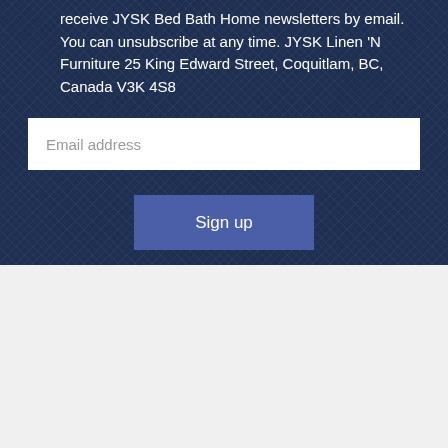receive JYSK Bed Bath Home newsletters by email. You can unsubscribe at any time. JYSK Linen 'N Furniture 25 King Edward Street, Coquitlam, BC, Canada V3K 4S8
[Figure (other): Email address input field with placeholder text]
[Figure (other): Sign up button in blue]
JYSK CANADA
About Us
Careers
Contact Us
Store Expansion